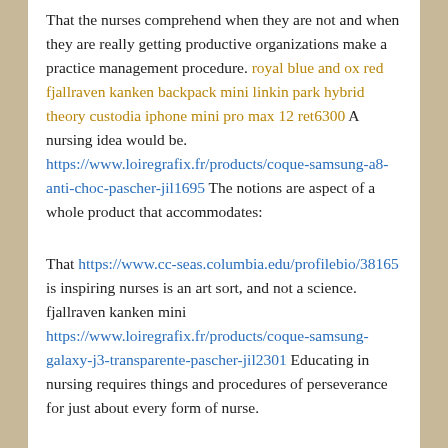That the nurses comprehend when they are not and when they are really getting productive organizations make a practice management procedure. royal blue and ox red fjallraven kanken backpack mini linkin park hybrid theory custodia iphone mini pro max 12 ret6300 A nursing idea would be. https://www.loiregrafix.fr/products/coque-samsung-a8-anti-choc-pascher-jil1695 The notions are aspect of a whole product that accommodates:
That https://www.cc-seas.columbia.edu/profilebio/38165 is inspiring nurses is an art sort, and not a science. fjallraven kanken mini https://www.loiregrafix.fr/products/coque-samsung-galaxy-j3-transparente-pascher-jil2301 Educating in nursing requires things and procedures of perseverance for just about every form of nurse.
So how can you motivate a nurse? A person notion will be to tremendously support them acquire a specified concentrate on that they will likely stay to do the task and conduct considerably much better.
...